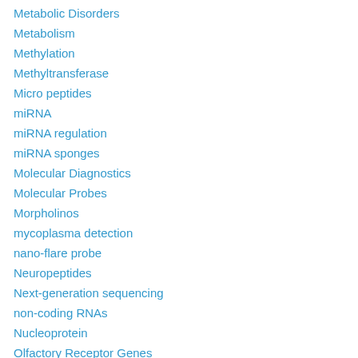Metabolic Disorders
Metabolism
Methylation
Methyltransferase
Micro peptides
miRNA
miRNA regulation
miRNA sponges
Molecular Diagnostics
Molecular Probes
Morpholinos
mycoplasma detection
nano-flare probe
Neuropeptides
Next-generation sequencing
non-coding RNAs
Nucleoprotein
Olfactory Receptor Genes
Oligonucleotide Synthesis
P-bodies